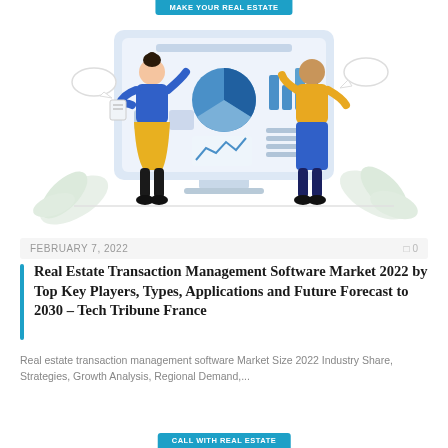MAKE YOUR REAL ESTATE
[Figure (illustration): Flat illustration of two people (a woman in blue top and yellow skirt, a man in yellow top and blue pants) presenting data dashboards on a large monitor screen showing pie charts, bar charts, line charts, and data widgets. Decorative leaves in the background.]
FEBRUARY 7, 2022   0 0
Real Estate Transaction Management Software Market 2022 by Top Key Players, Types, Applications and Future Forecast to 2030 – Tech Tribune France
Real estate transaction management software Market Size 2022 Industry Share, Strategies, Growth Analysis, Regional Demand,...
CALL WITH REAL ESTATE